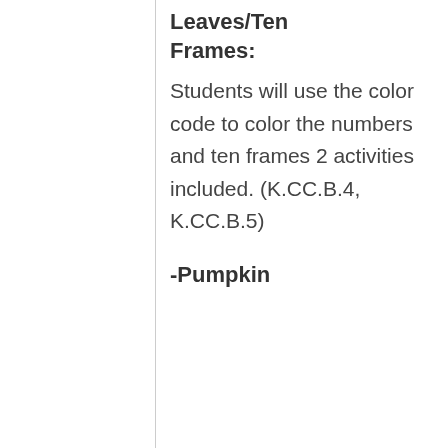Leaves/Ten Frames:
Students will use the color code to color the numbers and ten frames 2 activities included. (K.CC.B.4, K.CC.B.5)
-Pumpkin